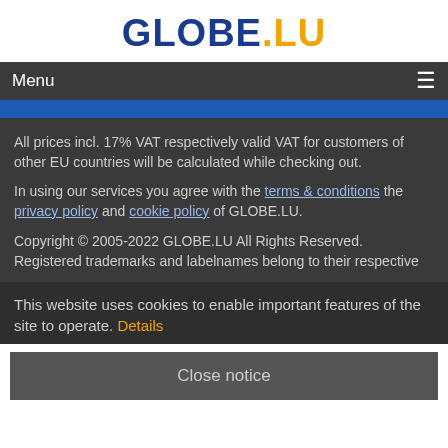[Figure (logo): GLOBE.LU logo with GLOBE in dark blue and .LU in orange, large bold text]
Menu
All prices incl. 17% VAT respectively valid VAT for customers of other EU countries will be calculated while checking out.
In using our services you agree with the terms & conditions the privacy policy and cookie policy of GLOBE.LU.
Copyright © 2005-2022 GLOBE.LU All Rights Reserved. Registered trademarks and labelnames belong to their respective
This website uses cookies to enable important features of the site to operate. Details
Close notice